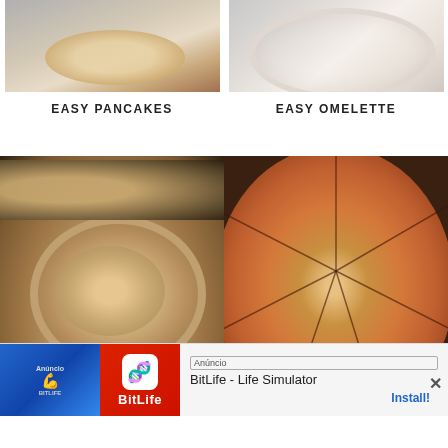[Figure (photo): Partial top portion of a pancake dish on a plate with dark sauce]
[Figure (photo): Partial top portion of an omelette on a white plate]
EASY PANCAKES
EASY OMELETTE
[Figure (photo): A bread bowl filled with creamy dip surrounded by bread chunks on a dark surface]
[Figure (photo): A whole pepperoni pizza cut into slices viewed from above on a dark pan]
Anúncio
BitLife - Life Simulator
Install!